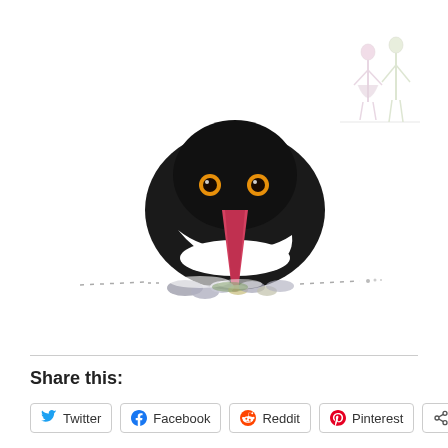[Figure (illustration): Illustration of an oystercatcher bird (black and white with orange-red beak and yellow eyes) sitting on pebbles/rocks at a waterline. A faint sketch of two figures (children or people) appears in the upper right corner.]
Share this:
Twitter
Facebook
Reddit
Pinterest
More